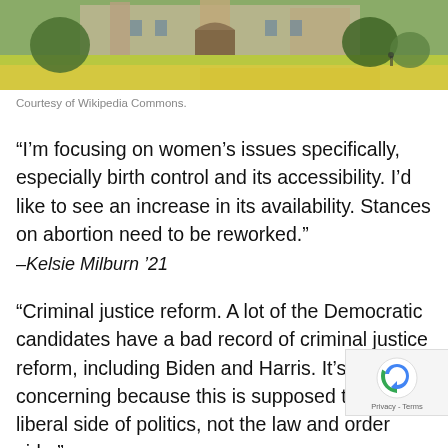[Figure (photo): Outdoor campus photo showing green lawn, trees, and a university building in the background]
Courtesy of Wikipedia Commons.
“I’m focusing on women’s issues specifically, especially birth control and its accessibility. I’d like to see an increase in its availability. Stances on abortion need to be reworked.”
–Kelsie Milburn ’21
“Criminal justice reform. A lot of the Democratic candidates have a bad record of criminal justice reform, including Biden and Harris. It’s concerning because this is supposed to be the liberal side of politics, not the law and order side.”
–Jonas Trostle ’21
“Health care and the environment. I am interested in